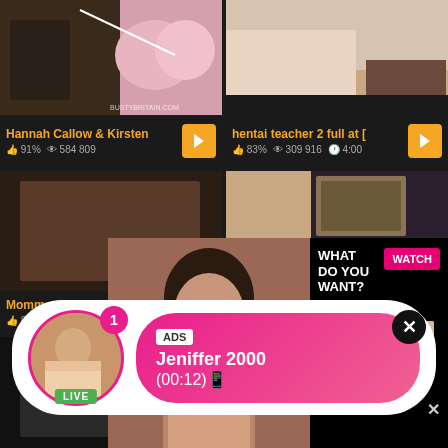[Figure (screenshot): Adult video thumbnail grid page with overlay ads. Top row: two video thumbnails with titles 'Hannah Callow & Kirsten' (91% rating, 584,809 views) and 'hentai teacher 2 full at [' (83% rating, 309,916 views, 4:00 duration). Middle row: two more video thumbnails, one titled 'Momm...' with 88% rating. Overlay popup ad with photo of woman, 'WHAT DO YOU WANT?' heading, pink WATCH button, Online indicator, three thumbnail images, and text 'Cumming, ass fucking, squirt or...' with ADS label. Bottom: notification-style ad with avatar woman, LIVE badge, pink gradient box showing 'ADS Jeniffer 2000 (00:12)'. Bottom row: two more video thumbnails partially visible.]